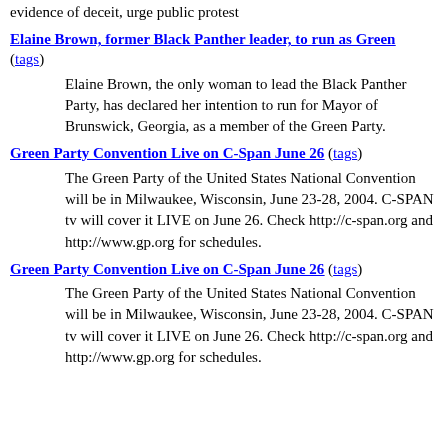evidence of deceit, urge public protest
Elaine Brown, former Black Panther leader, to run as Green (tags)
Elaine Brown, the only woman to lead the Black Panther Party, has declared her intention to run for Mayor of Brunswick, Georgia, as a member of the Green Party.
Green Party Convention Live on C-Span June 26 (tags)
The Green Party of the United States National Convention will be in Milwaukee, Wisconsin, June 23-28, 2004. C-SPAN tv will cover it LIVE on June 26. Check http://c-span.org and http://www.gp.org for schedules.
Green Party Convention Live on C-Span June 26 (tags)
The Green Party of the United States National Convention will be in Milwaukee, Wisconsin, June 23-28, 2004. C-SPAN tv will cover it LIVE on June 26. Check http://c-span.org and http://www.gp.org for schedules.